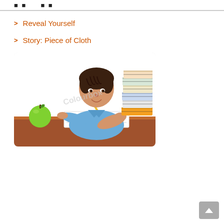Reveal Yourself
Story: Piece of Cloth
[Figure (photo): A young boy sitting at a desk writing in a notebook with a pencil, smiling. A green apple sits on the desk to his left, and a tall stack of books is on the right side. The image has a Colourbox watermark. The background is white.]